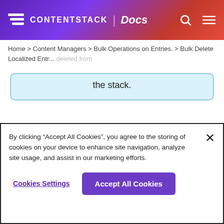CONTENTSTACK | Docs
Home > Content Managers > Bulk Operations on Entries. > Bulk Delete Localized Entr...
the stack.
5. Confirm the Delete action to permanently delete the entry and its localized versions from your stack.
By clicking “Accept All Cookies”, you agree to the storing of cookies on your device to enhance site navigation, analyze site usage, and assist in our marketing efforts.
Cookies Settings
Accept All Cookies